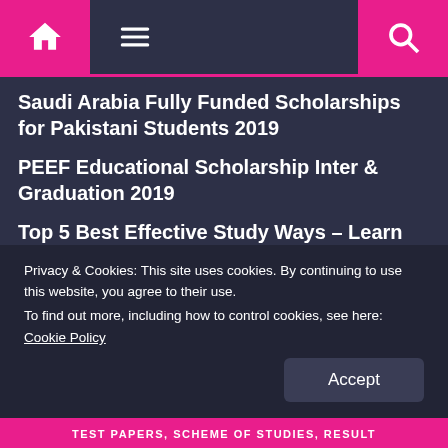Navigation bar with home, menu, and search icons
Saudi Arabia Fully Funded Scholarships for Pakistani Students 2019
PEEF Educational Scholarship Inter & Graduation 2019
Top 5 Best Effective Study Ways – Learn Art of Study
PPSC Past Papers Labor Officer Solved Past Papers
What Is Homeopathic Medical Science &
Privacy & Cookies: This site uses cookies. By continuing to use this website, you agree to their use.
To find out more, including how to control cookies, see here:
Cookie Policy
TEST PAPERS, SCHEME OF STUDIES, RESULT